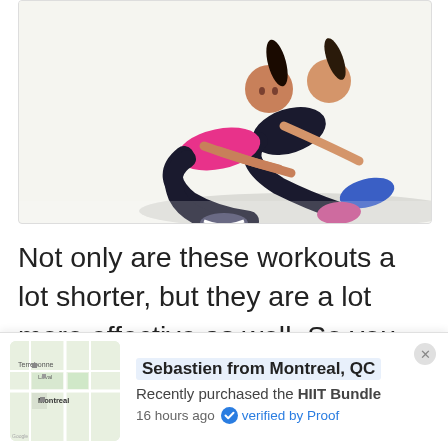[Figure (photo): Two women in athletic wear doing seated ab exercises on a white studio floor. One wears a pink sports bra and black leggings, the other wears all black. Both have legs raised off the ground.]
Not only are these workouts a lot shorter, but they are a lot more effective as well. So you can accomplish far more in less time. That makes these perfect for anyone with a busy schedule or
Sebastien from Montreal, QC
Recently purchased the HIIT Bundle
16 hours ago  verified by Proof